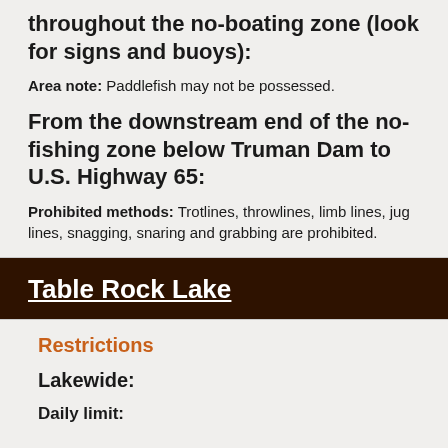throughout the no-boating zone (look for signs and buoys):
Area note: Paddlefish may not be possessed.
From the downstream end of the no-fishing zone below Truman Dam to U.S. Highway 65:
Prohibited methods: Trotlines, throwlines, limb lines, jug lines, snagging, snaring and grabbing are prohibited.
Table Rock Lake
Restrictions
Lakewide:
Daily limit: